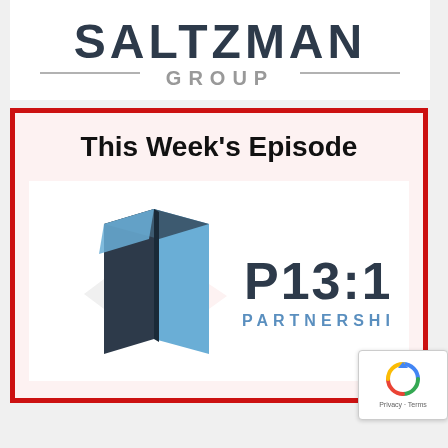[Figure (logo): Saltzman Group logo with large bold text 'SALTZMAN' above a horizontal line and 'GROUP' in gray]
This Week's Episode
[Figure (logo): P13:11 Partnerships logo with dark blue and light blue 3D book/box shape on the left and bold text 'P13:11 PARTNERSHIPS' on the right]